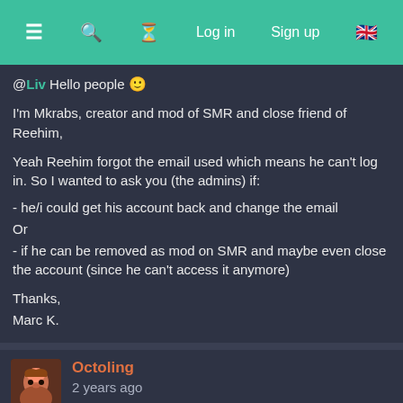≡  🔍  ⏳  Log in  Sign up  🇬🇧
@Liv Hello people 🙂

I'm Mkrabs, creator and mod of SMR and close friend of Reehim,

Yeah Reehim forgot the email used which means he can't log in. So I wanted to ask you (the admins) if:

- he/i could get his account back and change the email
Or
- if he can be removed as mod on SMR and maybe even close the account (since he can't access it anymore)

Thanks,
Marc K.
Octoling
2 years ago